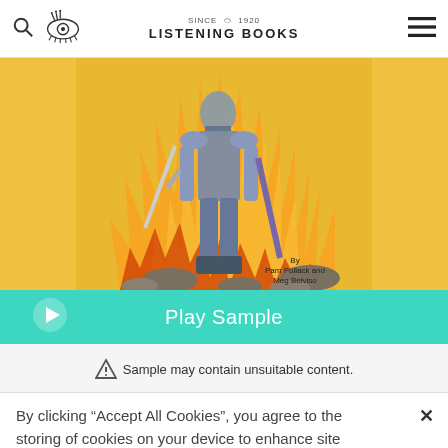Listening Books — since 1920
[Figure (illustration): Book cover showing a knight in armor wielding a sword against a fiery background, with text 'By Pam Pollack and Meg Belviso'. Yellow side panels flank a central illustrated panel.]
Play Sample
Sample may contain unsuitable content.
Stream / Download
By clicking “Accept All Cookies”, you agree to the storing of cookies on your device to enhance site navigation, analyze site usage, and assist in our